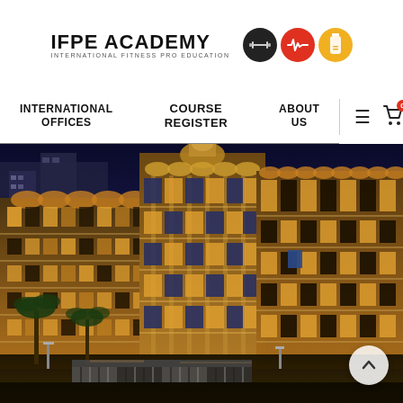[Figure (logo): IFPE Academy logo with text 'INTERNATIONAL FITNESS PRO EDUCATION' and three circular icons (dark with barbell, red with heart rate, yellow with bottle)]
INTERNATIONAL OFFICES | COURSE REGISTER | ABOUT US
[Figure (photo): Night-time photo of a large illuminated hotel or resort building with multiple stories, balconies, ornate architecture, palm trees in the foreground, and a market-style canopy area at the bottom.]